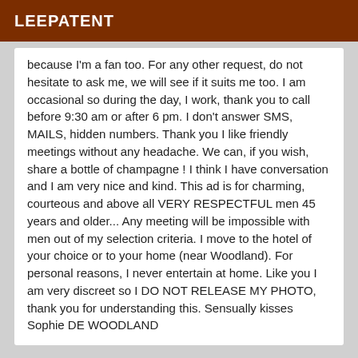LEEPATENT
because I'm a fan too. For any other request, do not hesitate to ask me, we will see if it suits me too. I am occasional so during the day, I work, thank you to call before 9:30 am or after 6 pm. I don't answer SMS, MAILS, hidden numbers. Thank you I like friendly meetings without any headache. We can, if you wish, share a bottle of champagne ! I think I have conversation and I am very nice and kind. This ad is for charming, courteous and above all VERY RESPECTFUL men 45 years and older... Any meeting will be impossible with men out of my selection criteria. I move to the hotel of your choice or to your home (near Woodland). For personal reasons, I never entertain at home. Like you I am very discreet so I DO NOT RELEASE MY PHOTO, thank you for understanding this. Sensually kisses Sophie DE WOODLAND
VIP